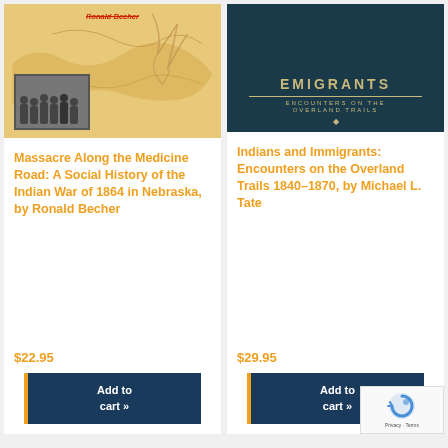[Figure (photo): Book cover for Massacre Along the Medicine Road by Ronald Becher, orange/tan background with a map and a black-and-white group photo]
Massacre Along the Medicine Road: A Social History of the Indian War of 1864 in Nebraska, by Ronald Becher
$22.95
Add to cart »
[Figure (photo): Book cover for Indians and Immigrants: Encounters on the Overland Trails 1840-1870 by Michael L. Tate, dark teal/navy cover with gold text]
Indians and Immigrants: Encounters on the Overland Trails 1840–1870, by Michael L. Tate
$29.95
Add to cart »